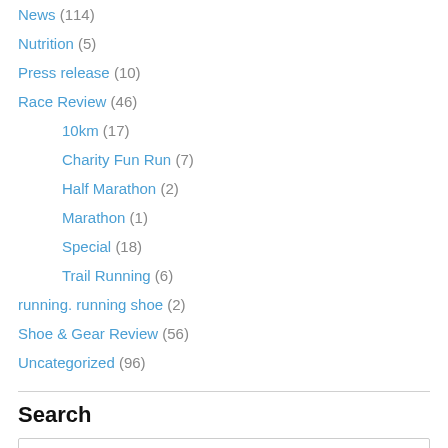News (114)
Nutrition (5)
Press release (10)
Race Review (46)
10km (17)
Charity Fun Run (7)
Half Marathon (2)
Marathon (1)
Special (18)
Trail Running (6)
running. running shoe (2)
Shoe & Gear Review (56)
Uncategorized (96)
Search
Search (input placeholder)